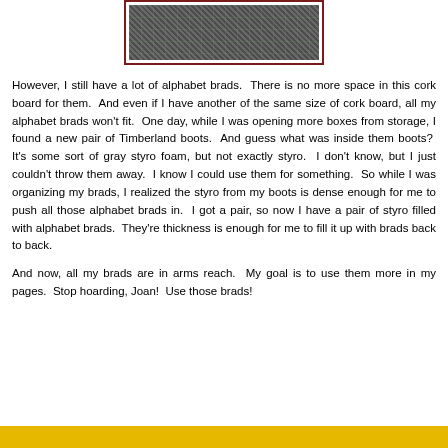[Figure (photo): A close-up photo of textured gray material (styro foam insoles from Timberland boots) with alphabet brads, on a green grid cutting mat background, framed with a dark red border.]
However, I still have a lot of alphabet brads.  There is no more space in this cork board for them.  And even if I have another of the same size of cork board, all my alphabet brads won't fit.  One day, while I was opening more boxes from storage, I found a new pair of Timberland boots.  And guess what was inside them boots?  It's some sort of gray styro foam, but not exactly styro.  I don't know, but I just couldn't throw them away.  I know I could use them for something.  So while I was organizing my brads, I realized the styro from my boots is dense enough for me to push all those alphabet brads in.  I got a pair, so now I have a pair of styro filled with alphabet brads.  They're thickness is enough for me to fill it up with brads back to back.
And now, all my brads are in arms reach.  My goal is to use them more in my pages.  Stop hoarding, Joan!  Use those brads!